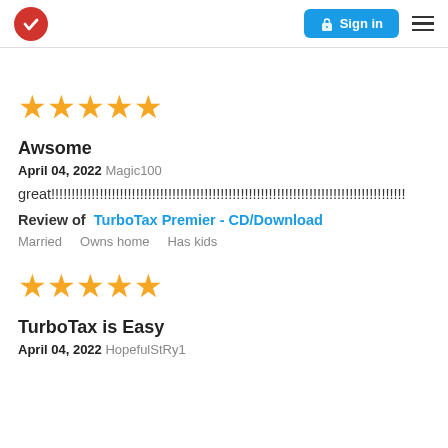TurboTax | Sign in
[Figure (other): Five yellow stars rating]
Awsome
April 04, 2022 Magic100
great!!!!!!!!!!!!!!!!!!!!!!!!!!!!!!!!!!!!!!!!!!!!!!!!!!!!!!!!!!!!!!!!!!!!!!!!!!!!!!!!!!!!!
Review of TurboTax Premier - CD/Download
Married   Owns home   Has kids
[Figure (other): Five yellow stars rating]
TurboTax is Easy
April 04, 2022 HopefulStRy1